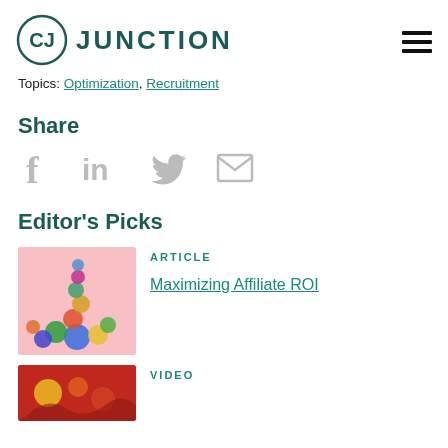CJ JUNCTION
Topics: Optimization, Recruitment
Share
[Figure (other): Social sharing icons: Facebook, LinkedIn, Twitter, Email]
Editor's Picks
[Figure (photo): Colorful clay balls stacked like a tower on a pink background]
ARTICLE
Maximizing Affiliate ROI
[Figure (photo): Red decorative textile with colorful embroidery]
VIDEO